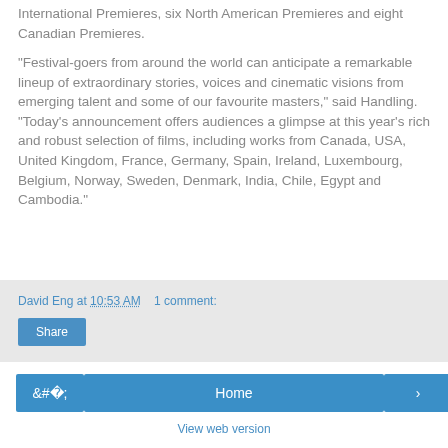International Premieres, six North American Premieres and eight Canadian Premieres.
“Festival-goers from around the world can anticipate a remarkable lineup of extraordinary stories, voices and cinematic visions from emerging talent and some of our favourite masters,” said Handling. “Today’s announcement offers audiences a glimpse at this year’s rich and robust selection of films, including works from Canada, USA, United Kingdom, France, Germany, Spain, Ireland, Luxembourg, Belgium, Norway, Sweden, Denmark, India, Chile, Egypt and Cambodia.”
David Eng at 10:53 AM   1 comment:
Share
‹
Home
›
View web version